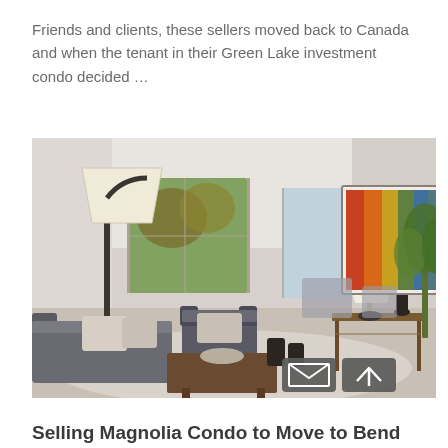Friends and clients, these sellers moved back to Canada and when the tenant in their Green Lake investment condo decided …
[Figure (photo): Interior photo of a staged condo living room with gray sofa, armchair, coffee table, floor lamp with white shade, large colorful abstract artwork on the wall, console table, and windows looking out to trees.]
Selling Magnolia Condo to Move to Bend